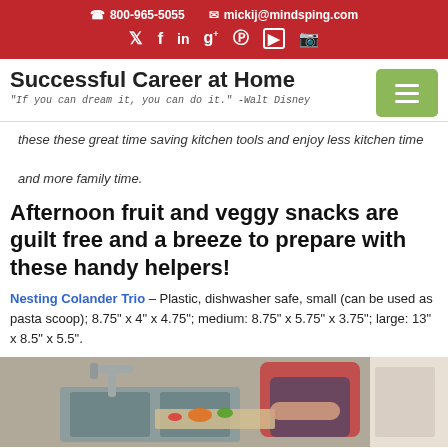800-965-5055  mickij@mindsping.com
Social icons: Twitter, Facebook, LinkedIn, Google+, Pinterest, YouTube, Instagram
Successful Career at Home
"If you can dream it, you can do it." -Walt Disney
these these great time saving kitchen tools and enjoy less kitchen time and more family time.
Afternoon fruit and veggy snacks are guilt free and a breeze to prepare with these handy helpers!
Nesting Colander Trio – Plastic, dishwasher safe, small (can be used as pasta scoop); 8.75" x 4" x 4.75"; medium: 8.75" x 5.75" x 3.75"; large: 13" x 8.5" x 5.5".
[Figure (photo): Person cutting vegetables at kitchen sink]